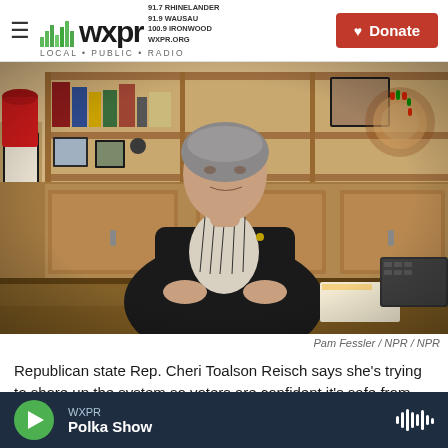WXPR – 91.7 RHINELANDER / 91.9 WAUSAU / 100.9 IRONWOOD / WXPR.ORG – Donate
[Figure (photo): A woman (Republican state Rep. Cheri Toalson Reisch) seated at a desk in an office, with bookshelves and framed documents on the wall behind her, wearing a black blazer.]
Pam Fessler / NPR / NPR
Republican state Rep. Cheri Toalson Reisch says she's trying to shore up the system so voters are confident it's safe from fraud. Reisch said even
WXPR Polka Show